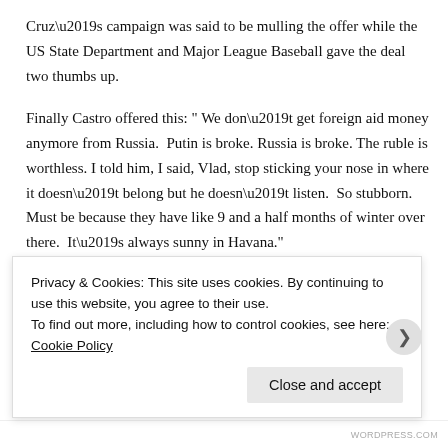Cruz’s campaign was said to be mulling the offer while the US State Department and Major League Baseball gave the deal two thumbs up.
Finally Castro offered this: “ We don’t get foreign aid money anymore from Russia.  Putin is broke. Russia is broke. The ruble is worthless. I told him, I said, Vlad, stop sticking your nose in where it doesn’t belong but he doesn’t listen.  So stubborn.  Must be because they have like 9 and a half months of winter over there.  It’s always sunny in Havana.”
“Just the other day Putin told me that my idea could
Privacy & Cookies: This site uses cookies. By continuing to use this website, you agree to their use.
To find out more, including how to control cookies, see here: Cookie Policy
Close and accept